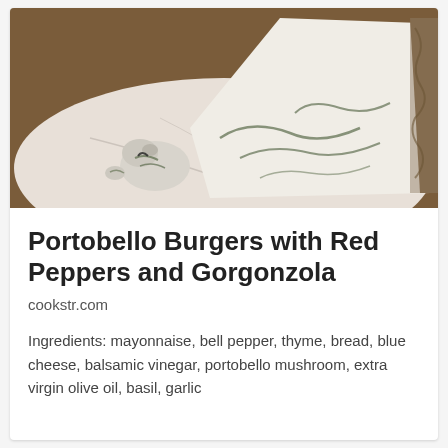[Figure (photo): Close-up photo of blue/gorgonzola cheese wedge and crumbles on a white marble plate with wooden surface in background]
Portobello Burgers with Red Peppers and Gorgonzola
cookstr.com
Ingredients: mayonnaise, bell pepper, thyme, bread, blue cheese, balsamic vinegar, portobello mushroom, extra virgin olive oil, basil, garlic